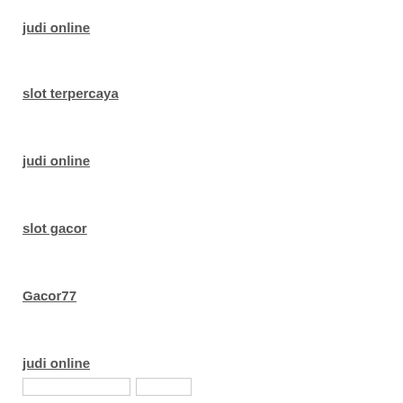judi online
slot terpercaya
judi online
slot gacor
Gacor77
judi online